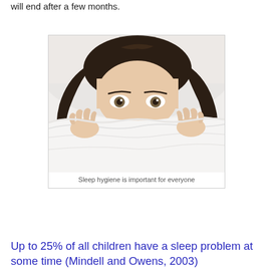will end after a few months.
[Figure (photo): Woman lying in bed pulling a white blanket up over her face, with only her eyes visible above the blanket.]
Sleep hygiene is important for everyone
Up to 25% of all children have a sleep problem at some time (Mindell and Owens, 2003)